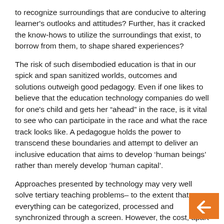to recognize surroundings that are conducive to altering learner's outlooks and attitudes? Further, has it cracked the know-hows to utilize the surroundings that exist, to borrow from them, to shape shared experiences?
The risk of such disembodied education is that in our spick and span sanitized worlds, outcomes and solutions outweigh good pedagogy. Even if one likes to believe that the education technology companies do well for one's child and gets her “ahead” in the race, is it vital to see who can participate in the race and what the race track looks like. A pedagogue holds the power to transcend these boundaries and attempt to deliver an inclusive education that aims to develop ‘human beings’ rather than merely develop ‘human capital’.
Approaches presented by technology may very well solve tertiary teaching problems– to the extent that everything can be categorized, processed and synchronized through a screen. However, the cost, apart from the hole in parents’ pocket, is the thrill of discourse, the human enthusiasm that excites and encourages and a shared classroom space where arguments and sensibilities take shape.